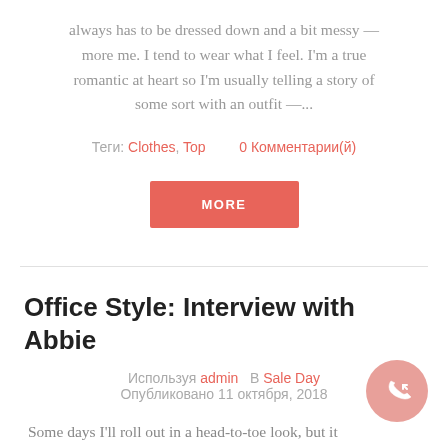always has to be dressed down and a bit messy — more me. I tend to wear what I feel. I'm a true romantic at heart so I'm usually telling a story of some sort with an outfit —...
Теги: Clothes, Top    0 Комментарии(й)
MORE
Office Style: Interview with Abbie
Используя admin   В Sale Day   Опубликовано 11 октября, 2018
Some days I'll roll out in a head-to-toe look, but it always has to be dressed down and a bit messy